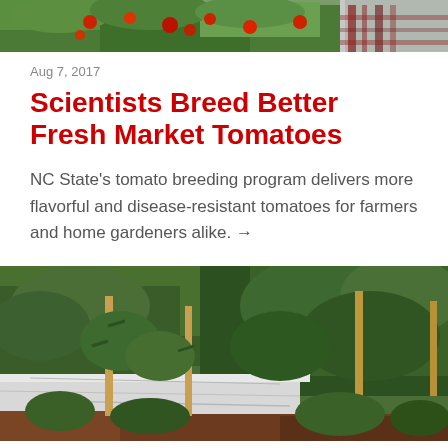[Figure (photo): Top portion of a photo showing tomato plants with red tomatoes and a person in a plaid shirt visible on the right side]
Aug 7, 2017
Scientists Breed Better Fresh Market Tomatoes
NC State's tomato breeding program delivers more flavorful and disease-resistant tomatoes for farmers and home gardeners alike. →
[Figure (photo): Tomato field with staked plants growing in rows, white plastic mulch visible on the ground, lush green foliage, outdoor agricultural setting]